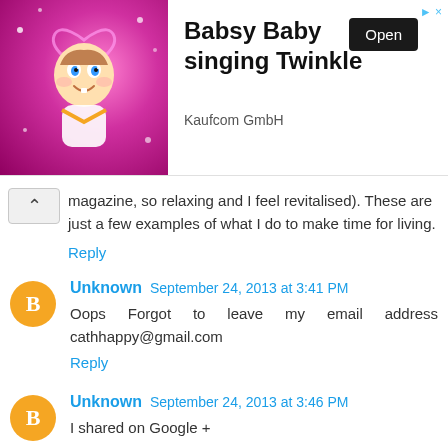[Figure (infographic): Advertisement banner for 'Babsy Baby singing Twinkle' by Kaufcom GmbH, showing a cartoon baby on a pink background with an 'Open' button]
magazine, so relaxing and I feel revitalised). These are just a few examples of what I do to make time for living.
Reply
Unknown  September 24, 2013 at 3:41 PM
Oops  Forgot  to  leave  my  email  address cathhappy@gmail.com
Reply
Unknown  September 24, 2013 at 3:46 PM
I shared on Google +
Reply